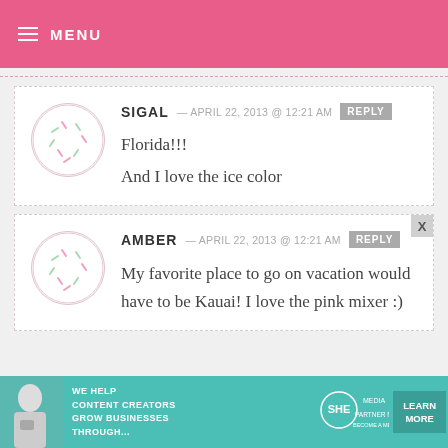MENU
SIGAL — APRIL 22, 2013 @ 12:21 AM   REPLY
Florida!!!
And I love the ice color
AMBER — APRIL 22, 2013 @ 12:21 AM   REPLY
My favorite place to go on vacation would have to be Kauai! I love the pink mixer :)